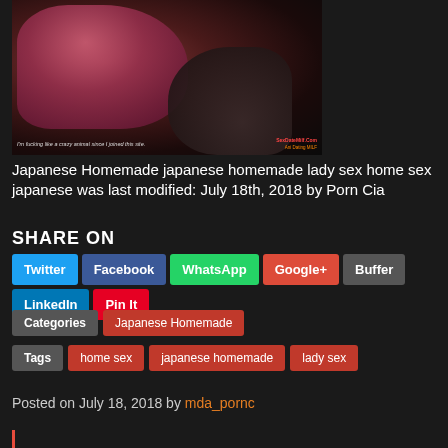[Figure (photo): Thumbnail image for adult video post with watermark text 'SexDateMilf.Com' and caption 'I'm fucking like a crazy animal since I joined this site.']
Japanese Homemade japanese homemade lady sex home sex japanese was last modified: July 18th, 2018 by Porn Cia
SHARE ON
Twitter Facebook WhatsApp Google+ Buffer LinkedIn Pin It
Categories  Japanese Homemade
Tags  home sex  japanese homemade  lady sex
Posted on July 18, 2018 by mda_pornc